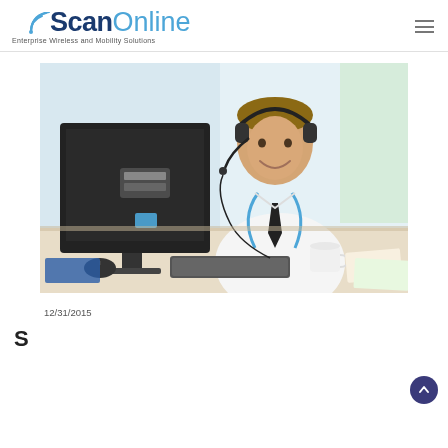ScanOnline — Enterprise Wireless and Mobility Solutions
[Figure (photo): A young man in a white shirt with a blue lanyard and headset, sitting at a desk in front of a computer monitor, smiling and typing on a keyboard. A coffee cup is on the desk.]
12/31/2015
S...